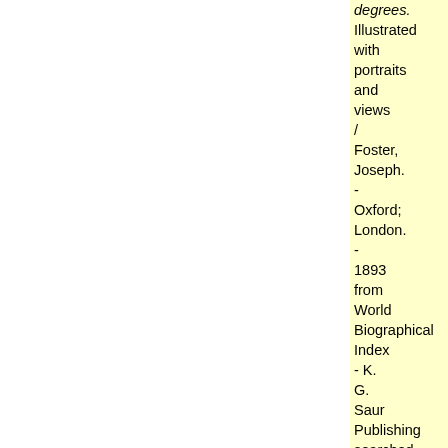degrees. Illustrated with portraits and views / Foster, Joseph. - Oxford; London. - 1893 from World Biographical Index - K. G. Saur Publishing searched 1999/08 at Braunschweig University Library http://www.biblio.bs.de/acwww25u